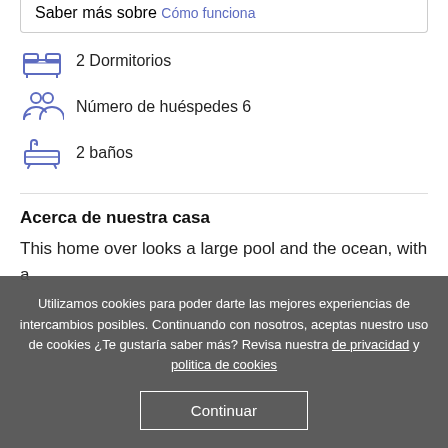Saber más sobre Cómo funciona
2 Dormitorios
Número de huéspedes 6
2 baños
Acerca de nuestra casa
This home over looks a large pool and the ocean, with a
Utilizamos cookies para poder darte las mejores experiencias de intercambios posibles. Continuando con nosotros, aceptas nuestro uso de cookies ¿Te gustaría saber más? Revisa nuestra de privacidad y politica de cookies
Continuar